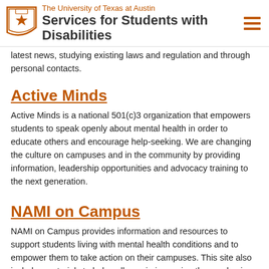The University of Texas at Austin – Services for Students with Disabilities
latest news, studying existing laws and regulation and through personal contacts.
Active Minds
Active Minds is a national 501(c)3 organization that empowers students to speak openly about mental health in order to educate others and encourage help-seeking. We are changing the culture on campuses and in the community by providing information, leadership opportunities and advocacy training to the next generation.
NAMI on Campus
NAMI on Campus provides information and resources to support students living with mental health conditions and to empower them to take action on their campuses. This site also includes materials to help colleges in improving the academic and social experience of their students by